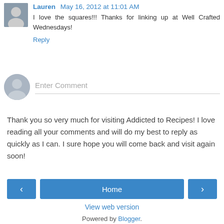Lauren May 16, 2012 at 11:01 AM
I love the squares!!! Thanks for linking up at Well Crafted Wednesdays!
Reply
Enter Comment
Thank you so very much for visiting Addicted to Recipes! I love reading all your comments and will do my best to reply as quickly as I can. I sure hope you will come back and visit again soon!
Home
View web version
Powered by Blogger.